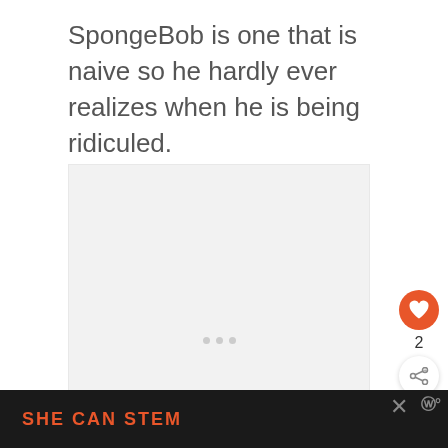SpongeBob is one that is naive so he hardly ever realizes when he is being ridiculed.
[Figure (other): Advertisement placeholder box with three grey dots]
[Figure (other): Like button (heart icon on orange circle), count of 2, and share button]
[Figure (other): Bottom banner: SHE CAN STEM text with close X and logo icon on dark background]